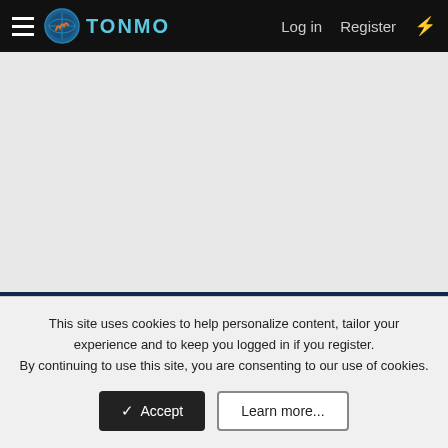TONMO — Log in   Register
[Figure (screenshot): Grey empty content area]
Terms and rules   Privacy policy   Help   Home   [RSS icon]   Community platform by XenForo® © 2010-2022 XenForo Ltd. -- TONMO is owned and operated by Deep Intuition, LLC, © 2000 - 2022. All Rights Reserved.
This site uses cookies to help personalize content, tailor your experience and to keep you logged in if you register.
By continuing to use this site, you are consenting to our use of cookies.
Accept   Learn more...